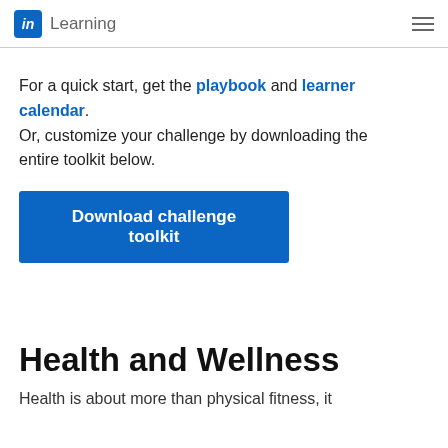LinkedIn Learning
For a quick start, get the playbook and learner calendar.
Or, customize your challenge by downloading the entire toolkit below.
[Figure (other): Download challenge toolkit button]
Health and Wellness
Health is about more than physical fitness, it